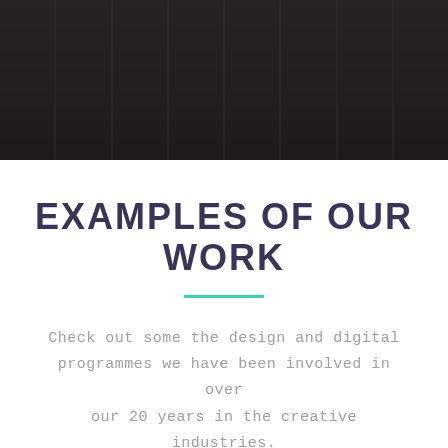[Figure (photo): Dark photo of shelves or bookcase in the background, heavily darkened overlay, partial view of a person on right side]
EXAMPLES OF OUR WORK
Check out some the design and digital programmes we have been involved in over our 20 years in the creative industries.